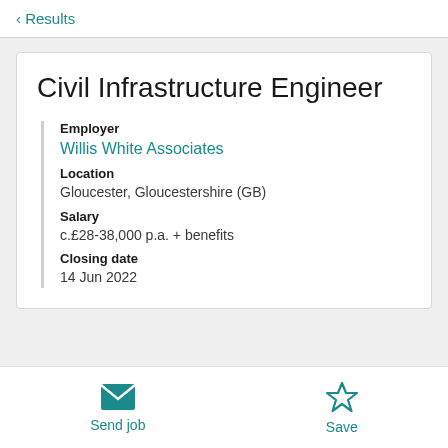< Results
Civil Infrastructure Engineer
Employer
Willis White Associates
Location
Gloucester, Gloucestershire (GB)
Salary
c.£28-38,000 p.a. + benefits
Closing date
14 Jun 2022
Send job   Save